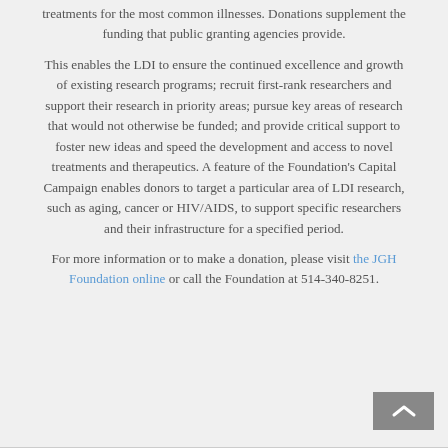treatments for the most common illnesses. Donations supplement the funding that public granting agencies provide.
This enables the LDI to ensure the continued excellence and growth of existing research programs; recruit first-rank researchers and support their research in priority areas; pursue key areas of research that would not otherwise be funded; and provide critical support to foster new ideas and speed the development and access to novel treatments and therapeutics. A feature of the Foundation's Capital Campaign enables donors to target a particular area of LDI research, such as aging, cancer or HIV/AIDS, to support specific researchers and their infrastructure for a specified period.
For more information or to make a donation, please visit the JGH Foundation online or call the Foundation at 514-340-8251.